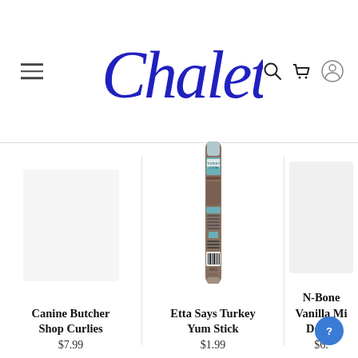[Figure (logo): Chalet brand logo in cursive blue script]
[Figure (photo): Etta Says Turkey Yum Stick product image — thin stick treat in brown/teal packaging]
Canine Butcher Shop Curlies
$7.99
Etta Says Turkey Yum Stick
$1.99
N-Bone Vanilla Mi... Dog T...
$6...